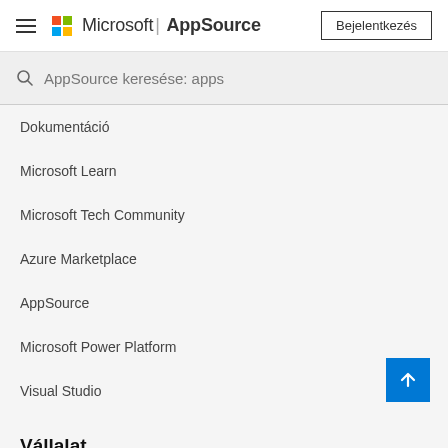Microsoft | AppSource — Bejelentkezés
AppSource keresése: apps
Dokumentáció
Microsoft Learn
Microsoft Tech Community
Azure Marketplace
AppSource
Microsoft Power Platform
Visual Studio
Vállalat
Karrier
A Microsoft bemutatása